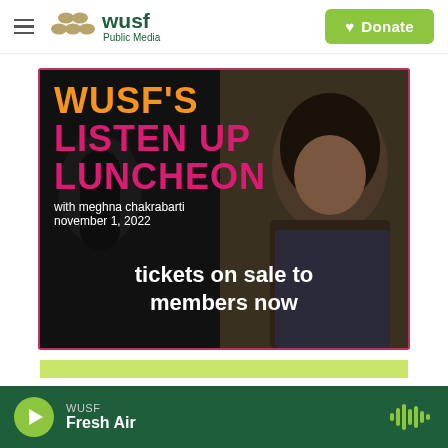WUSF Public Media | Donate
[Figure (photo): Promotional image for WUSF's Listen Up Luncheon with Meghna Chakrabarti, November 1, 2022. Text overlay reads 'WUSF'S LISTEN UP LUNCHEON with meghna chakrabarti november 1, 2022 tickets on sale to members now'. Shows a woman in a dark blazer against a dark background.]
WUSF Fresh Air